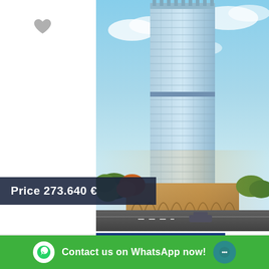[Figure (photo): Architectural rendering of a tall modern glass skyscraper with horizontal balconies, surrounded by trees and a road, blue sky with clouds background]
Price 273.640 €
[Figure (photo): Architectural rendering of a modern blue-glass building at night/dusk]
Contact us on WhatsApp now!